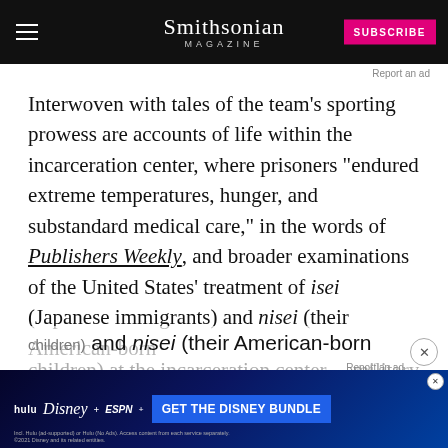Smithsonian Magazine | SUBSCRIBE
Report an ad
Interwoven with tales of the team’s sporting prowess are accounts of life within the incarceration center, where prisoners “endured extreme temperatures, hunger, and substandard medical care,” in the words of Publishers Weekly, and broader examinations of the United States’ treatment of isei (Japanese immigrants) and nisei (their American-born children) at the center…military recruitment efforts. Reluctant to fight on behalf
[Figure (screenshot): Disney Bundle advertisement banner with Hulu, Disney+, ESPN+ logos and 'GET THE DISNEY BUNDLE' call to action button]